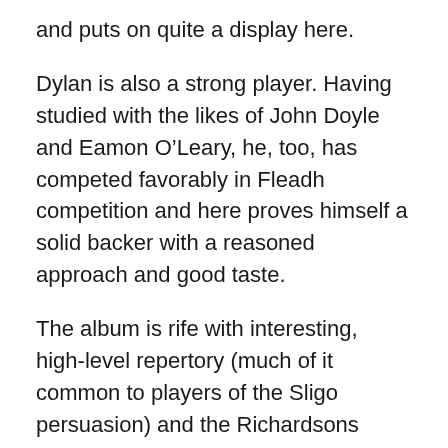and puts on quite a display here.
Dylan is also a strong player. Having studied with the likes of John Doyle and Eamon O'Leary, he, too, has competed favorably in Fleadh competition and here proves himself a solid backer with a reasoned approach and good taste.
The album is rife with interesting, high-level repertory (much of it common to players of the Sligo persuasion) and the Richardsons execute nicely throughout. Haley distinguishes herself in her playing, especially on “Porthole of the Kelp / …” (which has some flashy guitarwork from Dylan) “Bonnie Kate / …” (which features John Whelan) and ‘The Mathematician / …,” where her technical abilities are very much on display. Her well-realized version of“Lament for Staker Wallace” is another of the album's highlights, as is her take on